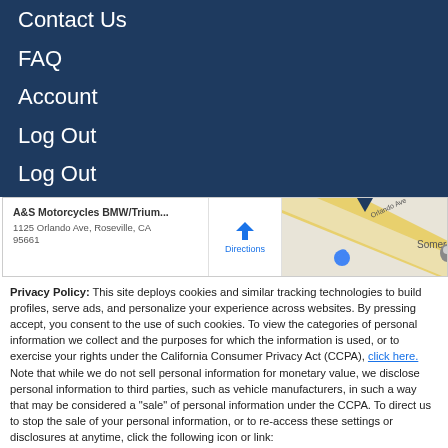Contact Us
FAQ
Account
Log Out
Log Out
[Figure (screenshot): Google Maps embed showing A&S Motorcycles BMW/Trium... at 1125 Orlando Ave, Roseville, CA 95661 with Directions button and map view showing Somersett Hills area]
Privacy Policy: This site deploys cookies and similar tracking technologies to build profiles, serve ads, and personalize your experience across websites. By pressing accept, you consent to the use of such cookies. To view the categories of personal information we collect and the purposes for which the information is used, or to exercise your rights under the California Consumer Privacy Act (CCPA), click here. Note that while we do not sell personal information for monetary value, we disclose personal information to third parties, such as vehicle manufacturers, in such a way that may be considered a "sale" of personal information under the CCPA. To direct us to stop the sale of your personal information, or to re-access these settings or disclosures at anytime, click the following icon or link:
Do Not Sell My Personal Information
Language: English
Powered by ComplyAuto
Accept and Continue → | California Privacy Disclosures | ×